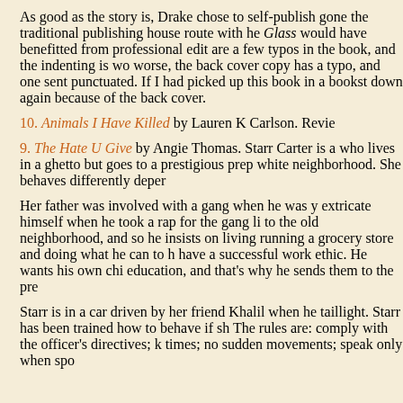As good as the story is, Drake chose to self-publish gone the traditional publishing house route with he Glass would have benefitted from professional edit are a few typos in the book, and the indenting is wo worse, the back cover copy has a typo, and one sent punctuated. If I had picked up this book in a bookst down again because of the back cover.
10. Animals I Have Killed by Lauren K Carlson. Revie
9. The Hate U Give by Angie Thomas. Starr Carter is a who lives in a ghetto but goes to a prestigious prep white neighborhood. She behaves differently deper
Her father was involved with a gang when he was y extricate himself when he took a rap for the gang li to the old neighborhood, and so he insists on living running a grocery store and doing what he can to h have a successful work ethic. He wants his own chi education, and that's why he sends them to the pre
Starr is in a car driven by her friend Khalil when he taillight. Starr has been trained how to behave if sh The rules are: comply with the officer's directives; k times; no sudden movements; speak only when spo